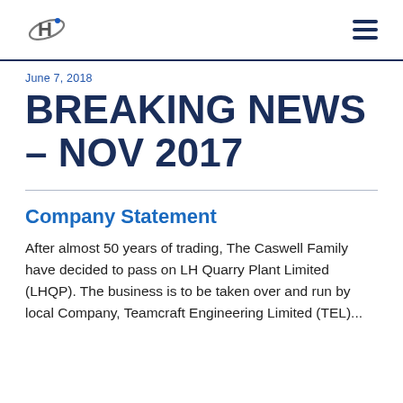LH Quarry Plant logo and navigation menu
June 7, 2018
BREAKING NEWS – NOV 2017
Company Statement
After almost 50 years of trading, The Caswell Family have decided to pass on LH Quarry Plant Limited (LHQP). The business is to be taken over and run by local Company, Teamcraft Engineering Limited (TEL)...